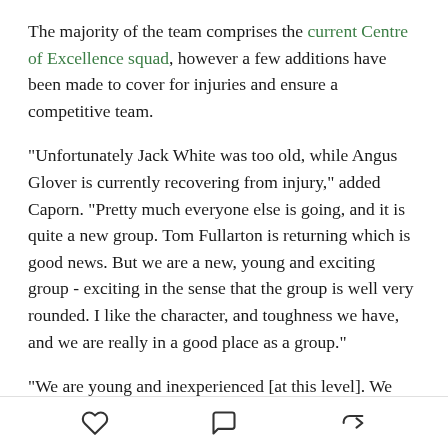The majority of the team comprises the current Centre of Excellence squad, however a few additions have been made to cover for injuries and ensure a competitive team.
"Unfortunately Jack White was too old, while Angus Glover is currently recovering from injury," added Caporn. "Pretty much everyone else is going, and it is quite a new group. Tom Fullarton is returning which is good news. But we are a new, young and exciting group - exciting in the sense that the group is well very rounded. I like the character, and toughness we have, and we are really in a good place as a group."
"We are young and inexperienced [at this level]. We have a range of ages, and we will have some young
[heart icon] [comment icon] [share icon]